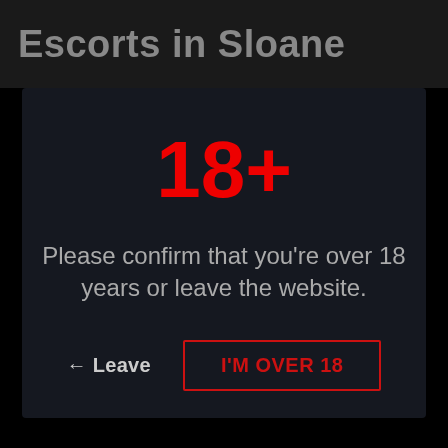Escorts in Sloane
18+
Please confirm that you're over 18 years or leave the website.
← Leave
I'M OVER 18